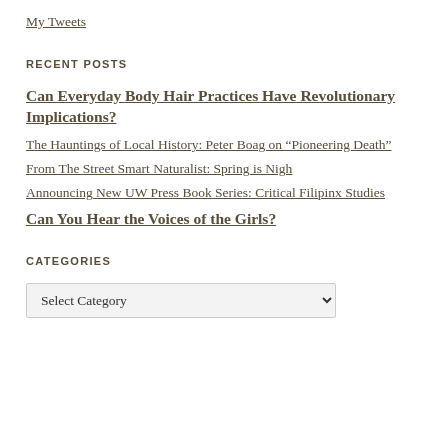My Tweets
RECENT POSTS
Can Everyday Body Hair Practices Have Revolutionary Implications?
The Hauntings of Local History: Peter Boag on “Pioneering Death”
From The Street Smart Naturalist: Spring is Nigh
Announcing New UW Press Book Series: Critical Filipinx Studies
Can You Hear the Voices of the Girls?
CATEGORIES
Select Category